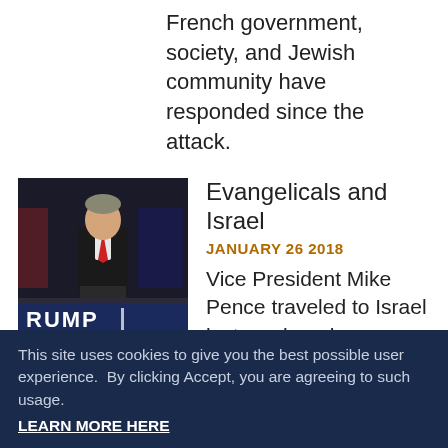French government, society, and Jewish community have responded since the attack.
[Figure (photo): Photo of a man in a suit at a podium with a dark blue 'RUMP' banner at the bottom of the image]
Evangelicals and Israel
JANUARY 26 2018
Vice President Mike Pence traveled to Israel last week and was warmly received. Throughout his political career, Pence has cited his Evangelical faith as the foundation of his support for the Jewish state. Our guests are McKay Coppins,
This site uses cookies to give you the best possible user experience.  By clicking Accept, you are agreeing to such usage. LEARN MORE HERE